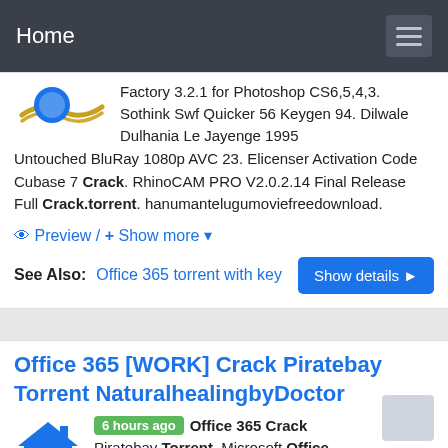Home
Factory 3.2.1 for Photoshop CS6,5,4,3. Sothink Swf Quicker 56 Keygen 94. Dilwale Dulhania Le Jayenge 1995 Untouched BluRay 1080p AVC 23. Elicenser Activation Code Cubase 7 Crack. RhinoCAM PRO V2.0.2.14 Final Release Full Crack.torrent. hanumantelugumoviefreedownload.
Preview / + Show more
See Also: Office 365 torrent with key
Office 365 [WORK] Crack Piratebay Torrent NaturalhealingbyDoctor
6 hours ago  Office 365 Crack  Piratebay Torrent. Microsoft Office